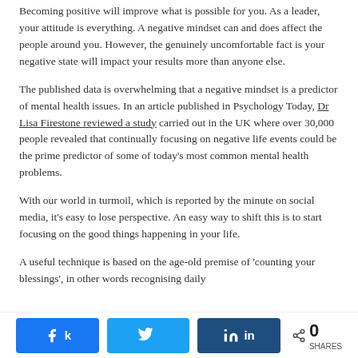Becoming positive will improve what is possible for you. As a leader, your attitude is everything. A negative mindset can and does affect the people around you. However, the genuinely uncomfortable fact is your negative state will impact your results more than anyone else.
The published data is overwhelming that a negative mindset is a predictor of mental health issues. In an article published in Psychology Today, Dr Lisa Firestone reviewed a study carried out in the UK where over 30,000 people revealed that continually focusing on negative life events could be the prime predictor of some of today's most common mental health problems.
With our world in turmoil, which is reported by the minute on social media, it's easy to lose perspective. An easy way to shift this is to start focusing on the good things happening in your life.
A useful technique is based on the age-old premise of 'counting your blessings', in other words recognising daily